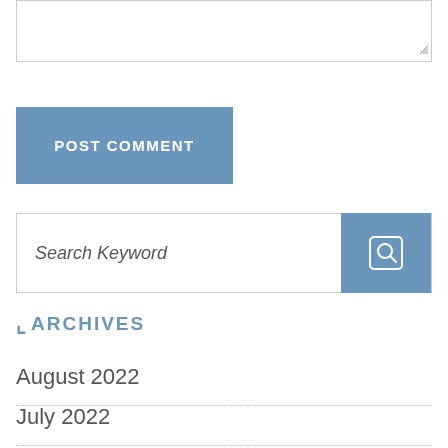[Figure (screenshot): Textarea input box (empty) with resize handle in bottom-right corner]
[Figure (screenshot): POST COMMENT button in steel blue color with white bold uppercase text]
[Figure (screenshot): Search bar with italic placeholder text 'Search Keyword' and a blue search icon button on the right]
ARCHIVES
August 2022
July 2022